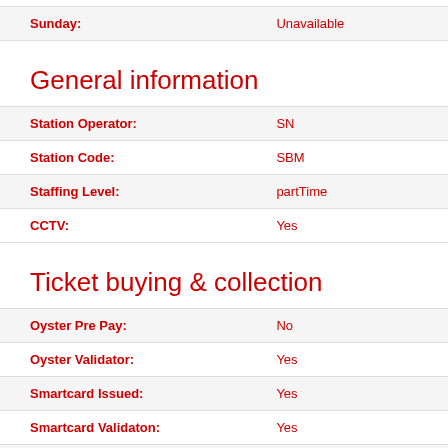| Field | Value |
| --- | --- |
| Sunday: | Unavailable |
General information
| Field | Value |
| --- | --- |
| Station Operator: | SN |
| Station Code: | SBM |
| Staffing Level: | partTime |
| CCTV: | Yes |
Ticket buying & collection
| Field | Value |
| --- | --- |
| Oyster Pre Pay: | No |
| Oyster Validator: | Yes |
| Smartcard Issued: | Yes |
| Smartcard Validaton: | Yes |
| Travelcard: | Zone 2 |